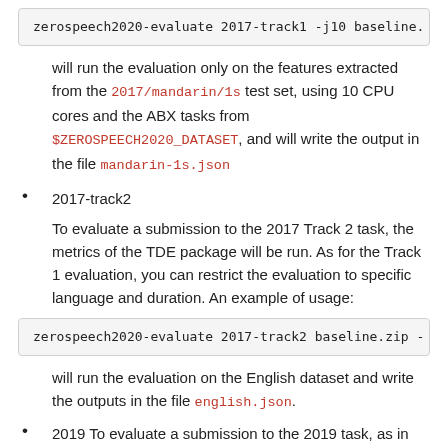zerospeech2020-evaluate 2017-track1 -j10 baseline.
will run the evaluation only on the features extracted from the 2017/mandarin/1s test set, using 10 CPU cores and the ABX tasks from $ZEROSPEECH2020_DATASET, and will write the output in the file mandarin-1s.json
2017-track2
To evaluate a submission to the 2017 Track 2 task, the metrics of the TDE package will be run. As for the Track 1 evaluation, you can restrict the evaluation to specific language and duration. An example of usage:
zerospeech2020-evaluate 2017-track2 baseline.zip -
will run the evaluation on the English dataset and write the outputs in the file english.json.
2019 To evaluate a submission to the 2019 task, as in Track 1